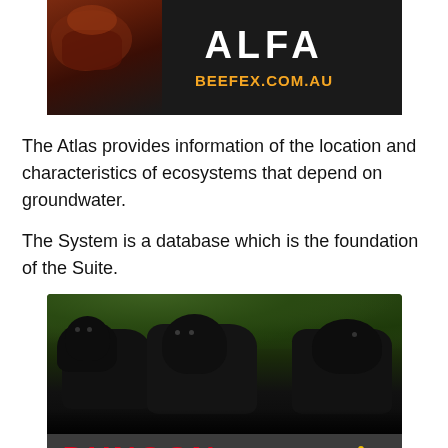[Figure (photo): Advertisement banner with dark background showing ALFA text in white bold letters and BEEFEX.COM.AU in orange, with a reddish/brown food image on the left side]
The Atlas provides information of the location and characteristics of ecosystems that depend on groundwater.
The System is a database which is the foundation of the Suite.
[Figure (photo): Advertisement for DUNOON showing a group of black cattle with green trees in background, with DUNOON text in red bold letters on a dark grey banner at the bottom]